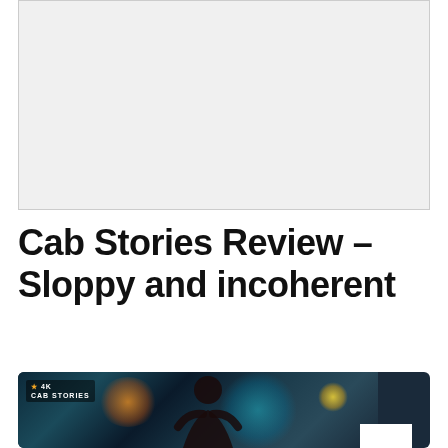[Figure (other): Gray placeholder advertisement box with light gray background and thin border]
Cab Stories Review – Sloppy and incoherent
[Figure (photo): Photo from Cab Stories showing a person in a city street at night with neon lights and a car, with the Cab Stories logo overlay in upper left. A dark back/scroll-up button appears on the right side.]